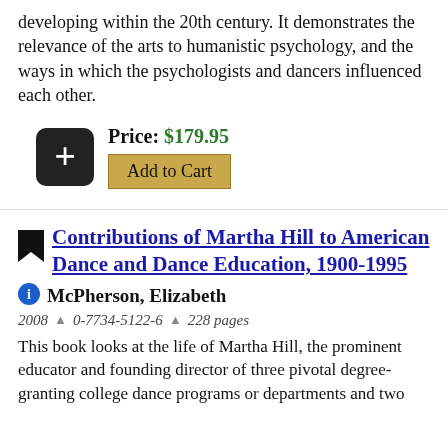developing within the 20th century. It demonstrates the relevance of the arts to humanistic psychology, and the ways in which the psychologists and dancers influenced each other.
Price: $179.95
Add to Cart
Contributions of Martha Hill to American Dance and Dance Education, 1900-1995
McPherson, Elizabeth
2008 ▲ 0-7734-5122-6 ▲ 228 pages
This book looks at the life of Martha Hill, the prominent educator and founding director of three pivotal degree-granting college dance programs or departments and two